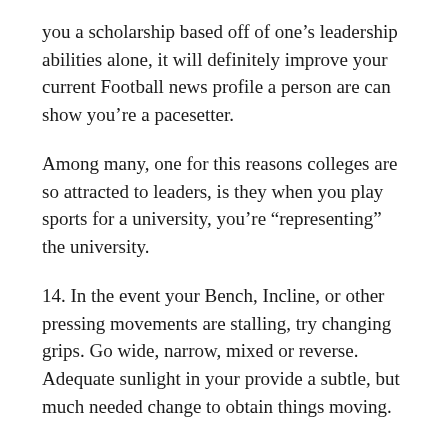you a scholarship based off of one’s leadership abilities alone, it will definitely improve your current Football news profile a person are can show you’re a pacesetter.
Among many, one for this reasons colleges are so attracted to leaders, is they when you play sports for a university, you’re “representing” the university.
14. In the event your Bench, Incline, or other pressing movements are stalling, try changing grips. Go wide, narrow, mixed or reverse. Adequate sunlight in your provide a subtle, but much needed change to obtain things moving.
There are websites offer you tips approach bet and win. For example, you will get Premier League betting tips online. In these websites, you will find information updates, which guide on the past performance of teams and players and what’s